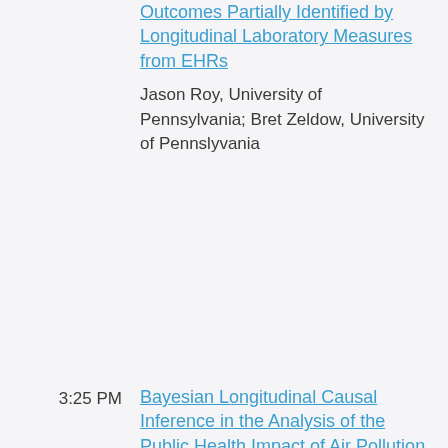Outcomes Partially Identified by Longitudinal Laboratory Measures from EHRs
Jason Roy, University of Pennsylvania; Bret Zeldow, University of Pennslyvania
3:25 PM
Bayesian Longitudinal Causal Inference in the Analysis of the Public Health Impact of Air Pollution